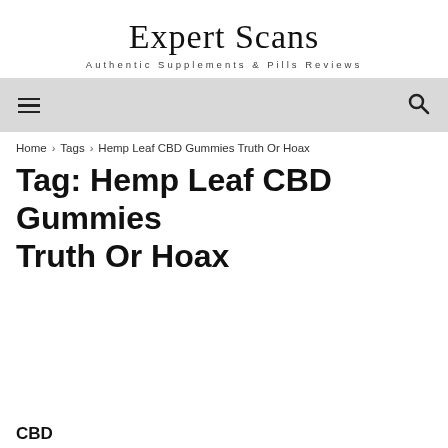Expert Scans
Authentic Supplements & Pills Reviews
Home › Tags › Hemp Leaf CBD Gummies Truth Or Hoax
Tag: Hemp Leaf CBD Gummies Truth Or Hoax
CBD